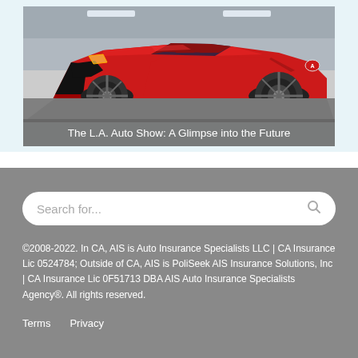[Figure (photo): Red sports car (Acura NSX) at the L.A. Auto Show, photographed from the front-side angle in a showroom setting]
The L.A. Auto Show: A Glimpse into the Future
Search for...
©2008-2022. In CA, AIS is Auto Insurance Specialists LLC | CA Insurance Lic 0524784; Outside of CA, AIS is PoliSeek AIS Insurance Solutions, Inc | CA Insurance Lic 0F51713 DBA AIS Auto Insurance Specialists Agency®. All rights reserved.
Terms   Privacy